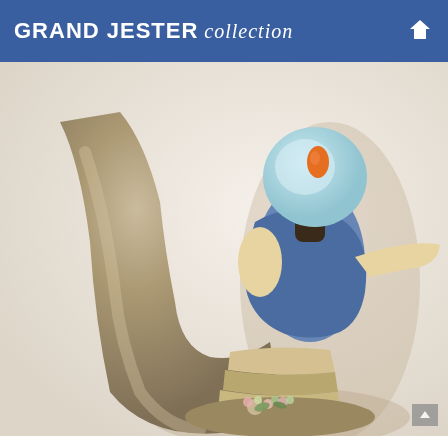GRAND JESTER collection
[Figure (photo): A Grand Jester Collection Disney figurine shown from the back/side angle. The figure appears to be Snow White or a similar Disney princess character rendered in a stylized collectible form. The figurine has a large brown/taupe cape flowing behind, a blue dress with yellow/cream sleeves, a round stylized face with light blue hair, and stands on a decorative base with stacked books and floral details in cream and green. A circular Grand Jester Collection watermark is overlaid on the lower portion of the image. The background is a soft warm white/cream fabric.]